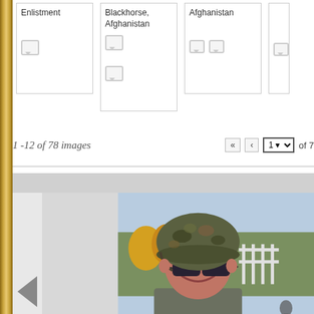[Figure (screenshot): Thumbnail cards showing image gallery items: 'Enlistment', 'Blackhorse, Afghanistan', 'Afghanistan', and a partial fourth card with chat/comment icons below each thumbnail]
1 -12 of 78 images
[Figure (screenshot): Pagination controls: double-left arrow button, left arrow button, page selector dropdown showing '1', 'of 7' text]
[Figure (photo): A soldier wearing camouflage helmet and dark sunglasses, smiling, in an outdoor setting with trees and structures visible in the background. Gray header bar above. Left navigation arrow on the left side.]